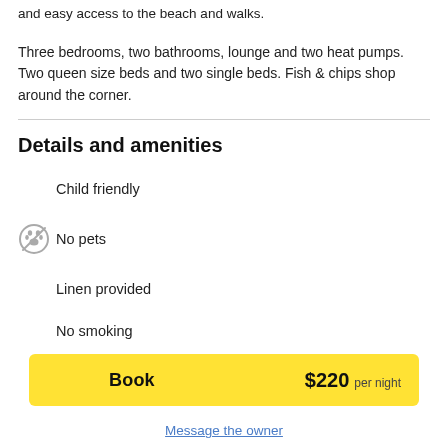and easy access to the beach and walks.
Three bedrooms, two bathrooms, lounge and two heat pumps. Two queen size beds and two single beds. Fish & chips shop around the corner.
Details and amenities
Child friendly
No pets
Linen provided
No smoking
Book   $220 per night
Message the owner